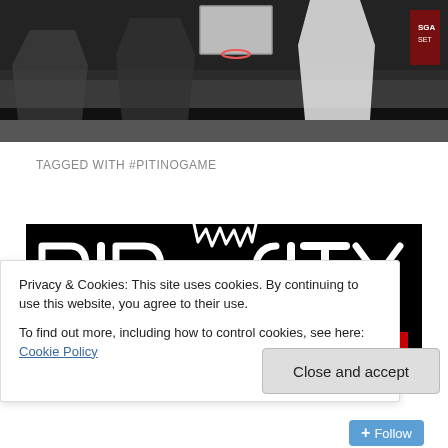[Figure (photo): Basketball arena photo showing players in dark and white jerseys with a backboard visible, dark crowd background]
TAGGED WITH #PITINOGAME
[Figure (illustration): Rip City stylized graphic with white graffiti-style text 'RIP CITY' and an illustrated cartoon face of a person peeking over a red banner, on a black background]
Privacy & Cookies: This site uses cookies. By continuing to use this website, you agree to their use.
To find out more, including how to control cookies, see here: Cookie Policy
Close and accept